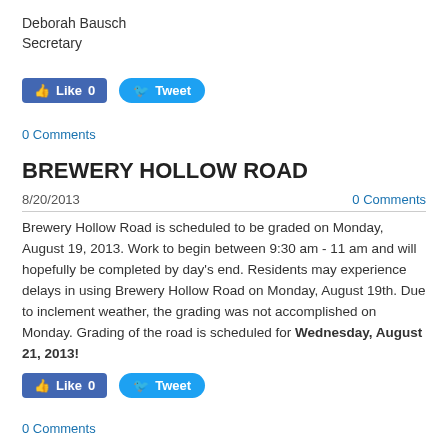Deborah Bausch
Secretary
[Figure (screenshot): Facebook Like button showing 0 likes and Twitter Tweet button]
0 Comments
BREWERY HOLLOW ROAD
8/20/2013
0 Comments
Brewery Hollow Road is scheduled to be graded on Monday, August 19, 2013.  Work to begin between 9:30 am - 11 am and will hopefully be completed by day's end.  Residents may experience delays in using Brewery Hollow Road on Monday, August 19th.  Due to inclement weather, the grading was not accomplished on Monday.  Grading of the road is scheduled for Wednesday, August 21, 2013!
[Figure (screenshot): Facebook Like button showing 0 likes and Twitter Tweet button]
0 Comments